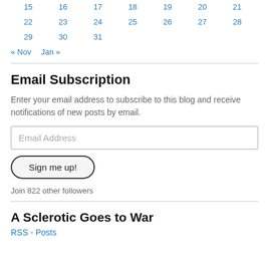| 15 | 16 | 17 | 18 | 19 | 20 | 21 |
| 22 | 23 | 24 | 25 | 26 | 27 | 28 |
| 29 | 30 | 31 |  |  |  |  |
« Nov   Jan »
Email Subscription
Enter your email address to subscribe to this blog and receive notifications of new posts by email.
Email Address
Sign me up!
Join 822 other followers
A Sclerotic Goes to War
RSS - Posts